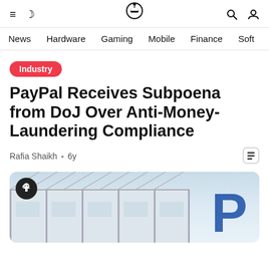≡ ☾ [Logo] 🔍 👤
News  Hardware  Gaming  Mobile  Finance  Soft
Industry
PayPal Receives Subpoena from DoJ Over Anti-Money-Laundering Compliance
Rafia Shaikh · 6y
[Figure (photo): Building exterior with steel/glass structure and partial PayPal blue logo visible on right side. Share button (circular dark button with arrow icon) overlaid at top-left.]